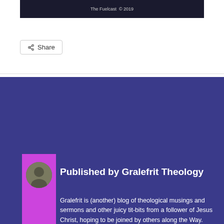[Figure (photo): Dark image bar with text 'The Fuelcast © 2019']
Share
Published by Gralefrit Theology
Gralefrit is (another) blog of theological musings and sermons and other juicy titbits from a follower of Jesus Christ, hoping to be joined by others along the Way. Gralefrit is a made-up word coined by the undercover policeman (played by Robin Ellis) in an episode of Fawlty Towers (A Touch of Class) who, when ordering breakfast from the maid Polly, assumed the persona of an ignorant illiterate, and ordered his grapefruit by stumbling through the menu and asked for a "gralefrit"